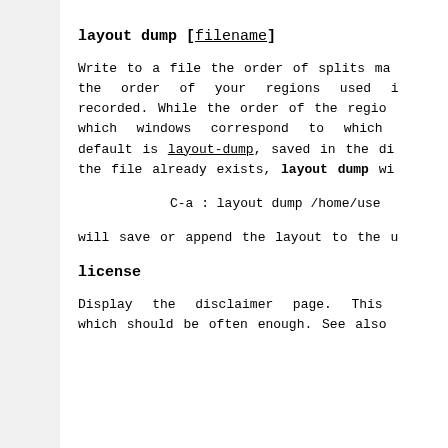layout dump [filename]
Write to a file the order of splits made the order of your regions used in recorded. While the order of the region which windows correspond to which default is layout-dump, saved in the directory. If the file already exists, layout dump will
C-a : layout dump /home/user
will save or append the layout to the user
license
Display the disclaimer page. This which should be often enough. See also